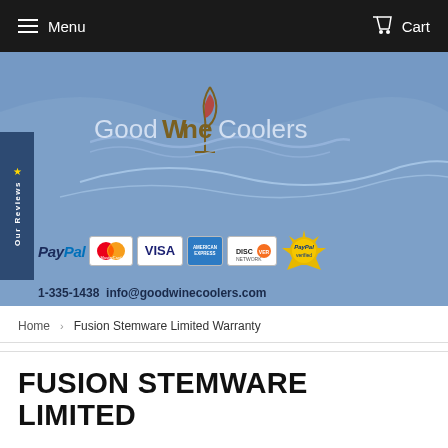Menu  Cart
[Figure (screenshot): GoodWine Coolers banner with logo, payment icons (PayPal, MasterCard, Visa, American Express, Discover, PayPal Verified), phone number and email. Side tab reads 'Our Reviews'. Contact: 1-335-1438 info@goodwinecoolers.com]
Home > Fusion Stemware Limited Warranty
FUSION STEMWARE LIMITED